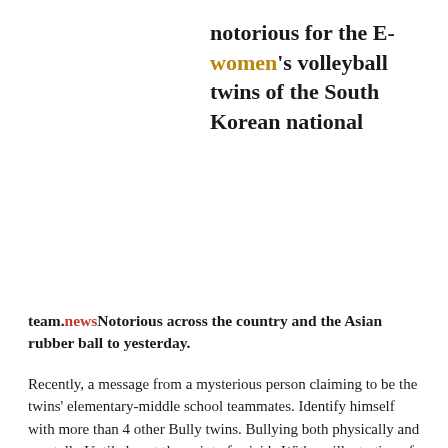notorious for the E-women's volleyball twins of the South Korean national
team.newsNotorious across the country and the Asian rubber ball to yesterday.
Recently, a message from a mysterious person claiming to be the twins' elementary-middle school teammates. Identify himself with more than 4 other Bully twins. Bullying both physically and mentally Until almost the point of suicide With an illustration of a graduation from Jeonju Geun Young School Which is the same school that